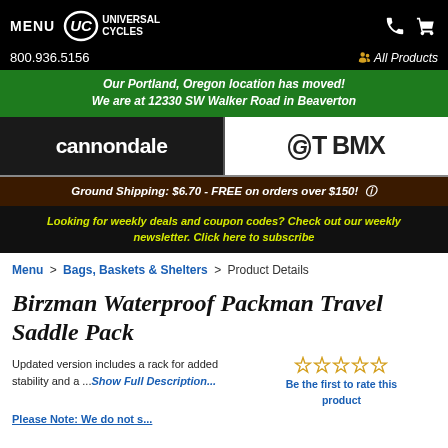MENU | UC UNIVERSAL CYCLES | 800.936.5156 | All Products
Our Portland, Oregon location has moved! We are at 12330 SW Walker Road in Beaverton
[Figure (logo): Cannondale logo on dark background left, GT BMX logo on white background right]
Ground Shipping: $6.70 - FREE on orders over $150!
Looking for weekly deals and coupon codes? Check out our weekly newsletter. Click here to subscribe
Menu > Bags, Baskets & Shelters > Product Details
Birzman Waterproof Packman Travel Saddle Pack
Updated version includes a rack for added stability and a ...Show Full Description...
Be the first to rate this product